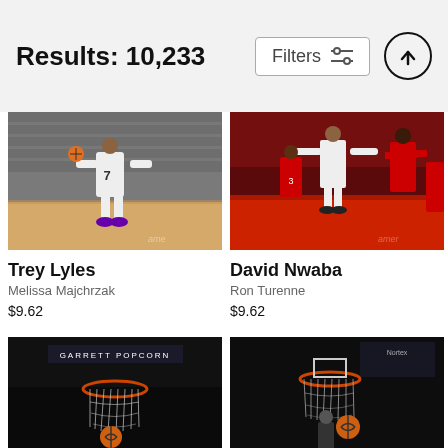Results: 10,233   Filters
[Figure (photo): Basketball player Trey Lyles wearing jersey #7 jumping/shooting in a game with crowd in background]
[Figure (photo): David Nwaba playing basketball in a game, players in red and white uniforms]
Trey Lyles
Melissa Majchrzak
$9.62
David Nwaba
Ron Turenne
$9.62
[Figure (photo): Basketball going through a hoop/net from below, dark arena background, GARRETT POPCORN sign visible]
[Figure (photo): Basketball going through a hoop/net, player visible below, dark arena background]